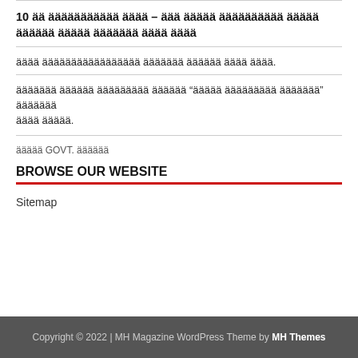10 ää äääääääääää ääää – äää äääää ääääääääää ääääääääää äääää äääääää ääää ääää
äääääääääääääääääää äääääää ääääää ääää ääää.
äääääää ääääää äääääääää ääääää “äääää äääääääää äääääää” äääääääääää äääää.
äääää GOVT. ääääää
BROWSE OUR WEBSITE
Sitemap
Copyright © 2022 | MH Magazine WordPress Theme by MH Themes